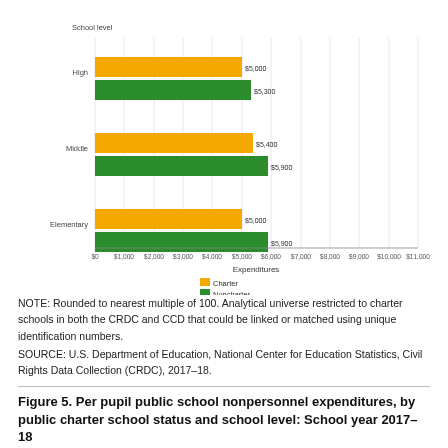[Figure (grouped-bar-chart): ]
NOTE: Rounded to nearest multiple of 100. Analytical universe restricted to charter schools in both the CRDC and CCD that could be linked or matched using unique identification numbers.
SOURCE: U.S. Department of Education, National Center for Education Statistics, Civil Rights Data Collection (CRDC), 2017–18.
Figure 5. Per pupil public school nonpersonnel expenditures, by public charter school status and school level: School year 2017–18